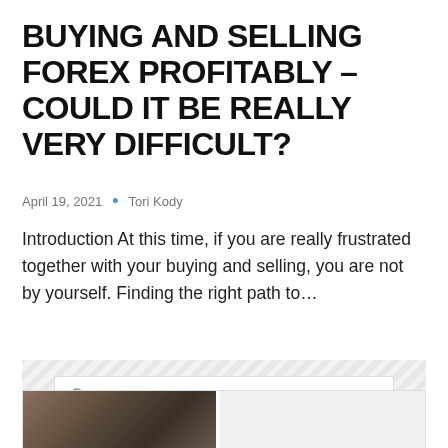BUYING AND SELLING FOREX PROFITABLY – COULD IT BE REALLY VERY DIFFICULT?
April 19, 2021  •  Tori Kody
Introduction At this time, if you are really frustrated together with your buying and selling, you are not by yourself. Finding the right path to...
[Figure (screenshot): Search box with placeholder text 'TYPE YOUR SEARCH' on a hatched grey background]
[Figure (photo): Two partially visible thumbnail images at the bottom of the page]